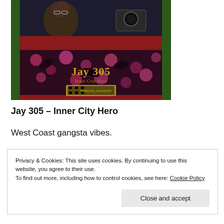[Figure (photo): Album cover for Jay 305 - Inner City Hero. Collage of images including a man with glasses, a camera, decorative bandana/paisley borders in green and red, and gothic lettering reading 'Jay 305 Inner City Hero' with a film strip element. Dark background with pink/magenta floral texture.]
Jay 305 – Inner City Hero
West Coast gangsta vibes.
Privacy & Cookies: This site uses cookies. By continuing to use this website, you agree to their use.
To find out more, including how to control cookies, see here: Cookie Policy
Close and accept